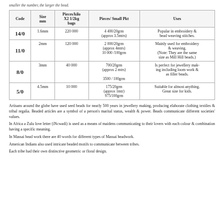smaller the number, the larger the bead.
| Code | Size mm | Pieces/kilo X2 1/2kg bags | Pieces/ Small Pkt | Uses |
| --- | --- | --- | --- | --- |
| 14/0 | 1.6mm | 220 000 | 4 400/20grm
(approx 3.5mtrs) | Popular in embroidery & bead weaving stitches. |
| 11/0 | 2mm | 120 000 | 2 000/20grm
(approx 4mtrs)
10 000 /100grm | Mainly used for embroidery & weaving.
(Note: They are the same size as Mill Hill beads.) |
| 8/0 | 3mm | 40 000 | 700/20grm
(approx 2 mtrs)
3500 / 100grm | Is perfect for jewellery making including loom work & as filler beads. |
| 5/0 | 4.5mm | 10 000 | 175/20grm
(approx 1mtr)
975/100grm | Suitable for almost anything. Great size for kids. |
Artisans around the globe have used seed beads for nearly 500 years in jewellery making, producing elaborate clothing textiles & tribal regalia. Beaded articles are a symbol of a person's marital status, wealth & power. Beads communicate different societies' values.
In Africa a Zulu love letter (iNcwadi) is used as a means of maidens communicating to their lovers with each colour & combination having a specific meaning.
In Massai bead work there are 40 words for different types of Massai beadwork.
American Indians also used intricate beaded motifs to communicate between tribes.
Each tribe had their own distinctive geometric or floral design.